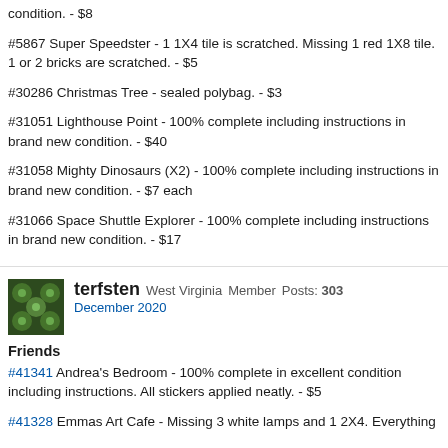condition. - $8
#5867 Super Speedster - 1 1X4 tile is scratched. Missing 1 red 1X8 tile. 1 or 2 bricks are scratched. - $5
#30286 Christmas Tree - sealed polybag. - $3
#31051 Lighthouse Point - 100% complete including instructions in brand new condition. - $40
#31058 Mighty Dinosaurs (X2) - 100% complete including instructions in brand new condition. - $7 each
#31066 Space Shuttle Explorer - 100% complete including instructions in brand new condition. - $17
terfsten  West Virginia  Member  Posts: 303  December 2020
Friends
#41341 Andrea's Bedroom - 100% complete in excellent condition including instructions. All stickers applied neatly. - $5
#41328 Emmas Art Cafe - Missing 3 white lamps and 1 2X4. Everything...